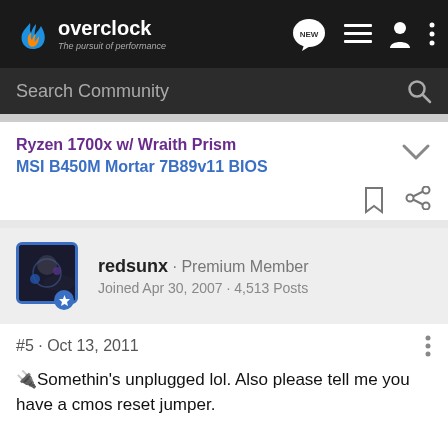overclock · The pursuit of performance
Search Community
Ryzen 1700x w/ Wraith Prism
MSI B450M Mortar 7B89v11 BIOS
redsunx · Premium Member
Joined Apr 30, 2007 · 4,513 Posts
#5 · Oct 13, 2011
🔌Somethin's unplugged lol. Also please tell me you have a cmos reset jumper.